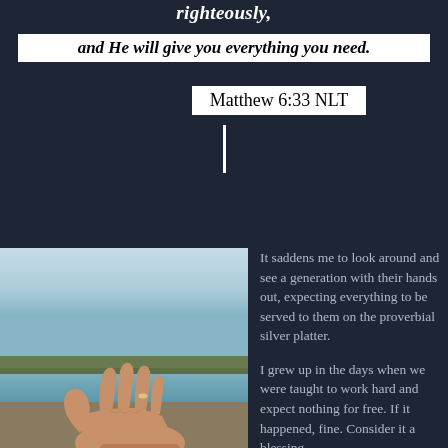righteously,
and He will give you everything you need.
Matthew 6:33 NLT
[Figure (photo): A hand with a ring held out palm-up against a landscape background with water, marsh grass, and sky.]
It saddens me to look around and see a generation with their hands out, expecting everything to be served to them on the proverbial silver platter.
I grew up in the days when we were taught to work hard and expect nothing for free. If it happened, fine. Consider it a blessing.